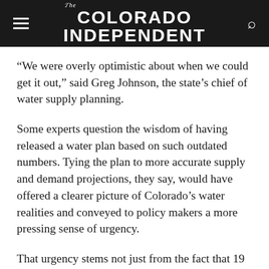The Colorado Independent
“We were overly optimistic about when we could get it out,” said Greg Johnson, the state’s chief of water supply planning.
Some experts question the wisdom of having released a water plan based on such outdated numbers. Tying the plan to more accurate supply and demand projections, they say, would have offered a clearer picture of Colorado’s water realities and conveyed to policy makers a more pressing sense of urgency.
That urgency stems not just from the fact that 19 years of drought have dropped significantly less snow in Colorado’s high country, but also from